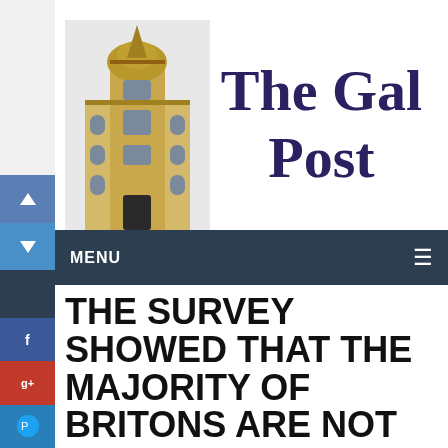The Gal Post
MENU
THE SURVEY SHOWED THAT THE MAJORITY OF BRITONS ARE NOT AGAINST A REFERENDUM ON INDEPENDENCE IN SCOTLAND AND